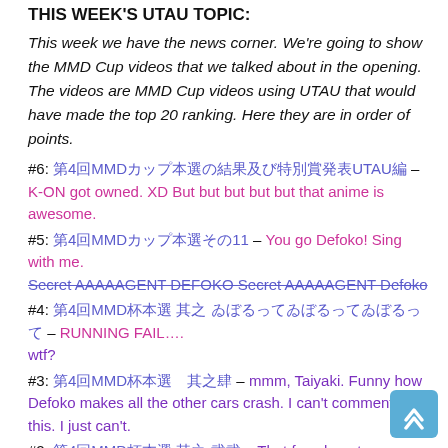THIS WEEK'S UTAU TOPIC:
This week we have the news corner. We're going to show the MMD Cup videos that we talked about in the opening. The videos are MMD Cup videos using UTAU that would have made the top 20 ranking. Here they are in order of points.
#6: 第4回MMDカップ本選の結果及び特別賞発表UTAU編 – K-ON got owned. XD But but but but but that anime is awesome.
#5: 第4回MMDカップ本選その11 – You go Defoko! Sing with me. Secret AAAAAGENT DEFOKO Secret AAAAAGENT Defoko
#4: 第4回MMD杯本選 其之 ゐぼるってゐぼるってゐぼるって – RUNNING FAIL…. wtf?
#3: 第4回MMD杯本選　其之肆 – mmm, Taiyaki. Funny how Defoko makes all the other cars crash. I can't comment on this. I just can't.
#2: 第4回MMD杯本選 其之 弐弐 – That face haunts me. Especially…with…those…poses.
#1: 第4回MMDカップもしくはもしくはもしくは – Weird battle it was. It was just